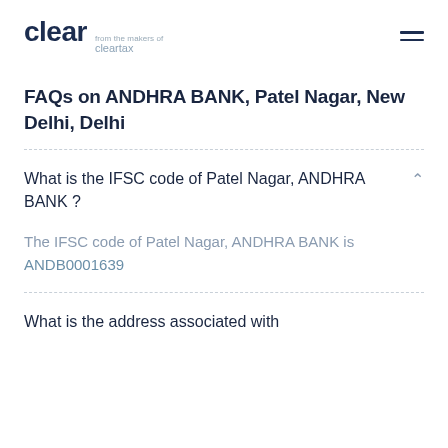clear from the makers of cleartax
FAQs on ANDHRA BANK, Patel Nagar, New Delhi, Delhi
What is the IFSC code of Patel Nagar, ANDHRA BANK ?
The IFSC code of Patel Nagar, ANDHRA BANK is ANDB0001639
What is the address associated with